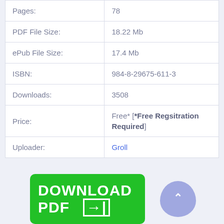| Field | Value |
| --- | --- |
| Pages: | 78 |
| PDF File Size: | 18.22 Mb |
| ePub File Size: | 17.4 Mb |
| ISBN: | 984-8-29675-611-3 |
| Downloads: | 3508 |
| Price: | Free* [*Free Regsitration Required] |
| Uploader: | Groll |
[Figure (other): Green Download PDF button with arrow icon, and a purple scroll-to-top button]